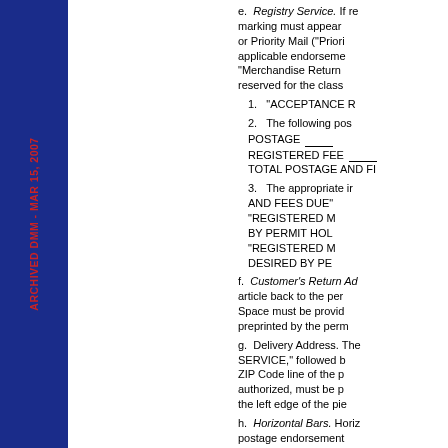ARCHIVED DMM - MAR 15, 2007
e. Registry Service. If re... marking must appear or Priority Mail ("Priori... applicable endorseme... "Merchandise Return ... reserved for the class...
1. "ACCEPTANCE R...
2. The following pos... POSTAGE ___ REGISTERED FEE ___ TOTAL POSTAGE AND F...
3. The appropriate i... AND FEES DUE" ... "REGISTERED M... BY PERMIT HOL... "REGISTERED M... DESIRED BY PE...
f. Customer's Return Ad... article back to the per... Space must be provid... preprinted by the perm...
g. Delivery Address. The... SERVICE," followed b... ZIP Code line of the p... authorized, must be p... the left edge of the pie...
h. Horizontal Bars. Horiz... postage endorsement...